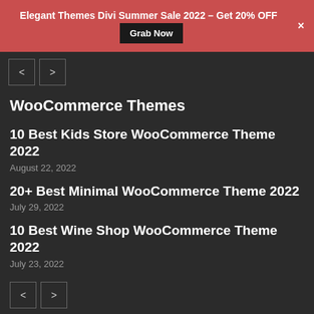Elegant Themes Divi Summer Sale 2022 – Get 20% OFF  Grab Now
WooCommerce Themes
10 Best Kids Store WooCommerce Theme 2022
August 22, 2022
20+ Best Minimal WooCommerce Theme 2022
July 29, 2022
10 Best Wine Shop WooCommerce Theme 2022
July 23, 2022